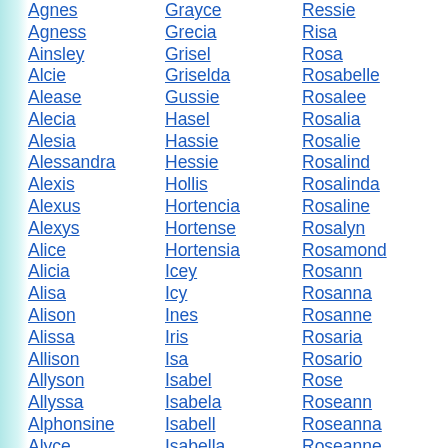Agnes
Agness
Ainsley
Alcie
Alease
Alecia
Alesia
Alessandra
Alexis
Alexus
Alexys
Alice
Alicia
Alisa
Alison
Alissa
Allison
Allyson
Allyssa
Alphonsine
Alyce
Grayce
Grecia
Grisel
Griselda
Gussie
Hasel
Hassie
Hessie
Hollis
Hortencia
Hortense
Hortensia
Icey
Icy
Ines
Iris
Isa
Isabel
Isabela
Isabell
Isabella
Ressie
Risa
Rosa
Rosabelle
Rosalee
Rosalia
Rosalie
Rosalind
Rosalinda
Rosaline
Rosalyn
Rosamond
Rosann
Rosanna
Rosanne
Rosaria
Rosario
Rose
Roseann
Roseanna
Roseanne